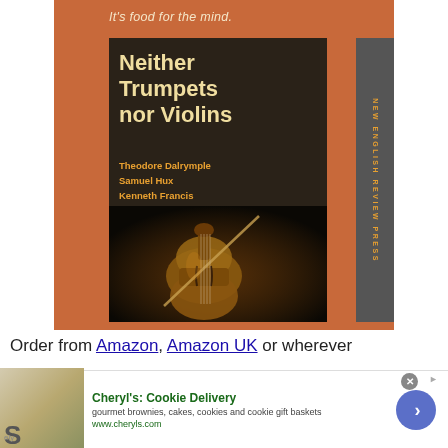[Figure (illustration): Book cover for 'Neither Trumpets nor Violins' by Theodore Dalrymple, Samuel Hux, Kenneth Francis. Orange and dark brown cover with painting of a violin. Published by New English Review Press. Tagline: It's food for the mind.]
Order from Amazon, Amazon UK or wherever
[Figure (other): Advertisement for Cheryl's Cookie Delivery: gourmet brownies, cakes, cookies and cookie gift baskets. www.cheryls.com]